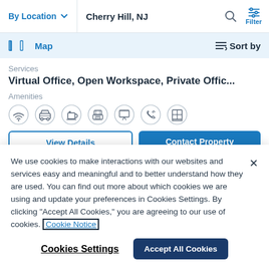By Location  Cherry Hill, NJ  Filter
Map    Sort by
Services
Virtual Office, Open Workspace, Private Offic...
Amenities
[Figure (infographic): Row of amenity icons: WiFi, parking/car, coffee cup, printer, presentation board, phone, window/office]
We use cookies to make interactions with our websites and services easy and meaningful and to better understand how they are used. You can find out more about which cookies we are using and update your preferences in Cookies Settings. By clicking "Accept All Cookies," you are agreeing to our use of cookies. Cookie Notice
Cookies Settings
Accept All Cookies